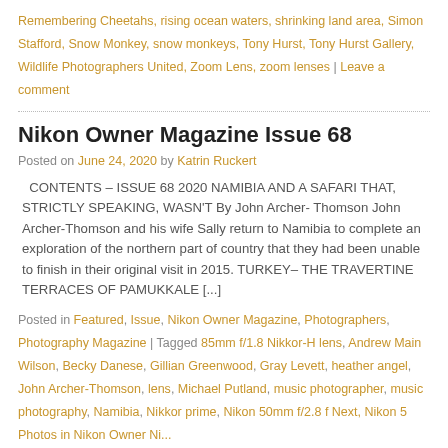Remembering Cheetahs, rising ocean waters, shrinking land area, Simon Stafford, Snow Monkey, snow monkeys, Tony Hurst, Tony Hurst Gallery, Wildlife Photographers United, Zoom Lens, zoom lenses | Leave a comment
Nikon Owner Magazine Issue 68
Posted on June 24, 2020 by Katrin Ruckert
CONTENTS – ISSUE 68 2020 NAMIBIA AND A SAFARI THAT, STRICTLY SPEAKING, WASN'T By John Archer-Thomson John Archer-Thomson and his wife Sally return to Namibia to complete an exploration of the northern part of country that they had been unable to finish in their original visit in 2015. TURKEY– THE TRAVERTINE TERRACES OF PAMUKKALE [...]
Posted in Featured, Issue, Nikon Owner Magazine, Photographers, Photography Magazine | Tagged 85mm f/1.8 Nikkor-H lens, Andrew Main Wilson, Becky Danese, Gillian Greenwood, Gray Levett, heather angel, John Archer-Thomson, lens, Michael Putland, music photographer, music photography, Namibia, Nikkor prime, Nikon 50mm f/2.8 f Next, Nikon 5 Photos in Nikon Owner Ni...